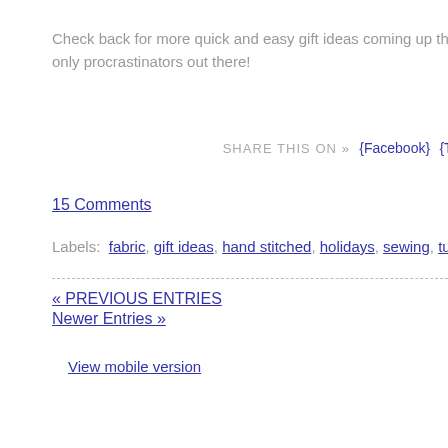Check back for more quick and easy gift ideas coming up this only procrastinators out there!
SHARE THIS ON »  {Facebook}  {Tw
15 Comments
Labels: fabric, gift ideas, hand stitched, holidays, sewing, tutorial
« PREVIOUS ENTRIES
Newer Entries »
View mobile version